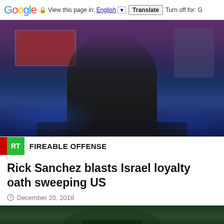Google  View this page in: English [▼]  Translate  Turn off for: G
[Figure (screenshot): TV news broadcast screenshot showing a male news anchor in a dark suit and tie seated at a desk with a TV studio background featuring blue lighting and screens. At the bottom, an RT news ticker banner reads 'FIREABLE OFFENSE' with the RT logo in green.]
Rick Sanchez blasts Israel loyalty oath sweeping US
December 20, 2018
[Figure (photo): Partial photo showing a man in military uniform, cropped at the top of the page.]